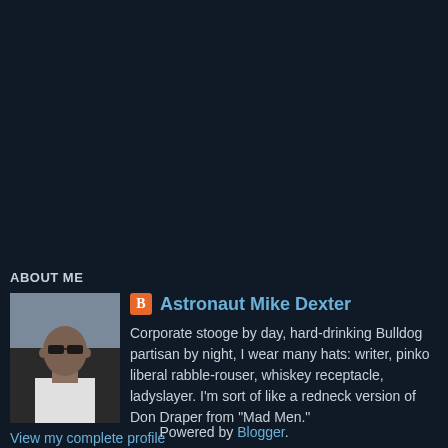ABOUT ME
[Figure (photo): Profile photo of a man wearing sunglasses and a white t-shirt, outdoors]
Astronaut Mike Dexter
Corporate stooge by day, hard-drinking Bulldog partisan by night, I wear many hats: writer, pinko liberal rabble-rouser, whiskey receptacle, ladyslayer. I'm sort of like a redneck version of Don Draper from "Mad Men."
View my complete profile
Powered by Blogger.